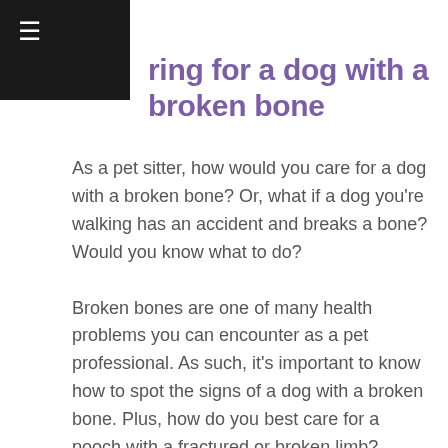≡
ring for a dog with a broken bone
As a pet sitter, how would you care for a dog with a broken bone? Or, what if a dog you're walking has an accident and breaks a bone? Would you know what to do?
Broken bones are one of many health problems you can encounter as a pet professional. As such, it's important to know how to spot the signs of a dog with a broken bone. Plus, how do you best care for a pooch with a fractured or broken limb?
Causes and symptoms
Of course, there is a multitude of possible reasons why a dog may break a bone. You might consider trauma,